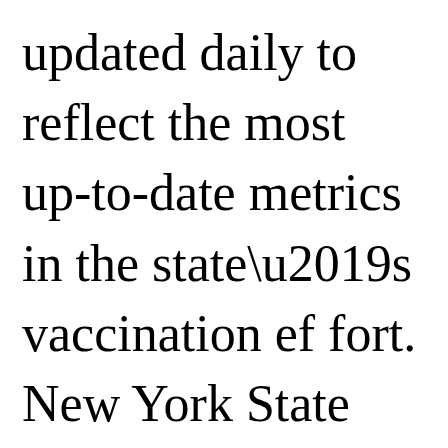updated daily to reflect the most up-to-date metrics in the state’s vaccination ef fort. New York State Department of